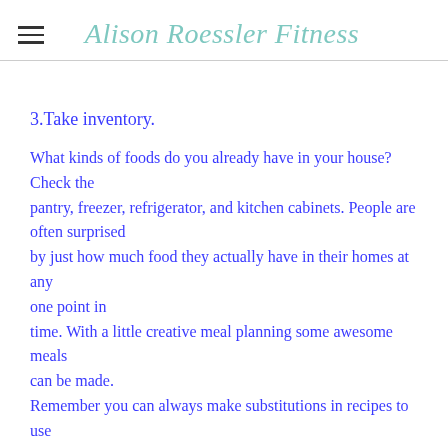Alison Roessler Fitness
3.Take inventory.
What kinds of foods do you already have in your house? Check the pantry, freezer, refrigerator, and kitchen cabinets. People are often surprised by just how much food they actually have in their homes at any one point in time. With a little creative meal planning some awesome meals can be made. Remember you can always make substitutions in recipes to use what you already have at home. Make sure you discard anything that is expired or appears spoiled. Typically if you are unsure, it is better to toss it than to take the chance of